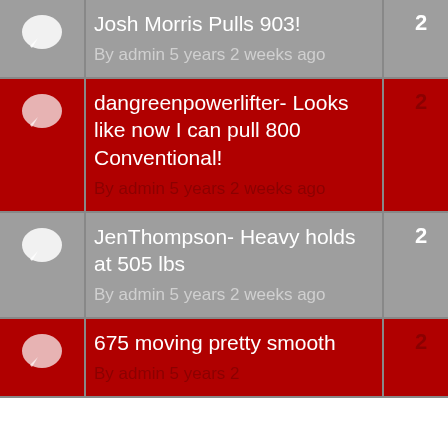| Icon | Topic | Replies | Last Post |
| --- | --- | --- | --- |
| [icon] | Josh Morris Pulls 903!
By admin 5 years 2 weeks ago | 2 | By Team McCloskey |
| [icon] | dangreenpowerlifter- Looks like now I can pull 800 Conventional!
By admin 5 years 2 weeks ago | 2 | By Jeff Hackett 15 y |
| [icon] | JenThompson- Heavy holds at 505 lbs
By admin 5 years 2 weeks ago | 2 | By Jeff Hackett 15 ye |
| [icon] | 675 moving pretty smooth
By admin 5 years 2 weeks ago | 2 | By Jeff Hackett 15 y |